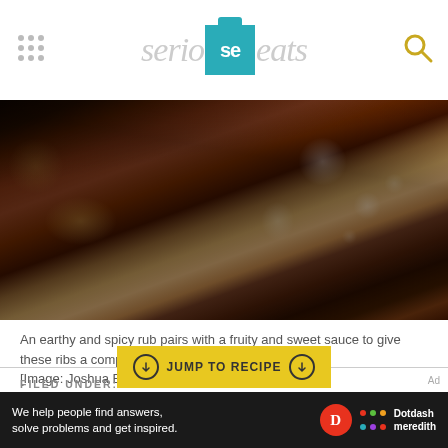serious eats
[Figure (photo): Close-up photo of glazed, charred BBQ ribs with a dark, caramelized crust, showing glistening sauce highlights]
An earthy and spicy rub pairs with a fruity and sweet sauce to give these ribs a complex, layered flavor. [Image: Joshua Bousel]
FILED UNDER:
PORK  GRILLED PORK  MEMORIAL DAY
JUMP TO RECIPE
Ad
We help people find answers, solve problems and get inspired. Dotdash meredith